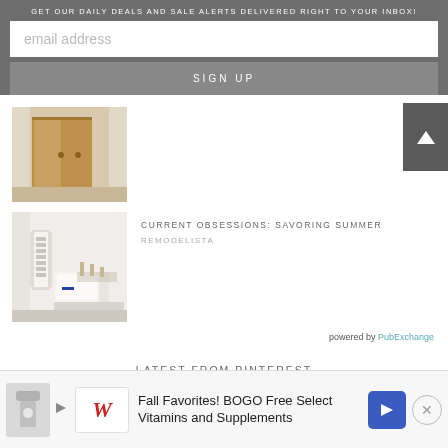GET OUR DAILY DEALS AND SALE ALERTS DELIVERED RIGHT TO YOUR INBOX!
email address
SIGN UP
[Figure (photo): Room interior with wooden cabinet/door]
[Figure (photo): Bright white bedroom with bookshelves and sitting area]
CURRENT OBSESSIONS: SAVORING SUMMER
REMODELISTA
powered by PubExchange
LATEST FROM PINTEREST
Fall Favorites! BOGO Free Select Vitamins and Supplements